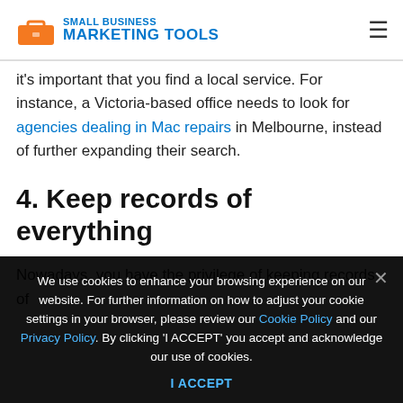Small Business Marketing Tools
it's important that you find a local service. For instance, a Victoria-based office needs to look for agencies dealing in Mac repairs in Melbourne, instead of further expanding their search.
4. Keep records of everything
Nowadays, you have the privilege of keeping records of
We use cookies to enhance your browsing experience on our website. For further information on how to adjust your cookie settings in your browser, please review our Cookie Policy and our Privacy Policy. By clicking 'I ACCEPT' you accept and acknowledge our use of cookies.
I ACCEPT